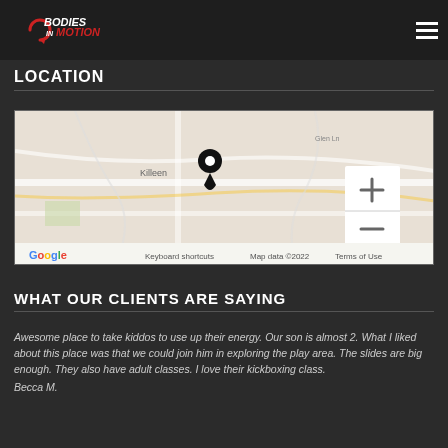[Figure (logo): Bodies In Motion logo with arrow graphic in white and dark background]
LOCATION
[Figure (map): Google Maps view showing a location pin marker with zoom controls and Google branding, Keyboard shortcuts, Map data ©2022, Terms of Use]
WHAT OUR CLIENTS ARE SAYING
Awesome place to take kiddos to use up their energy. Our son is almost 2. What I liked about this place was that we could join him in exploring the play area. The slides are big enough. They also have adult classes. I love their kickboxing class.
Becca M.